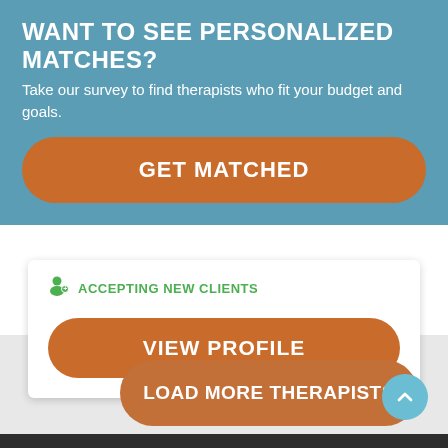WANT TO SEE PERSONALIZED MATCHES?
Take our survey to find therapists who fit your budget and goals.
GET MATCHED
ACCEPTING NEW CLIENTS
VIEW PROFILE
LOAD MORE THERAPISTS